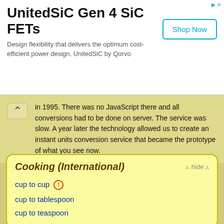[Figure (other): Advertisement banner for UnitedSiC Gen 4 SiC FETs by Qorvo with Shop Now button]
in 1995. There was no JavaScript there and all conversions had to be done on server. The service was slow. A year later the technology allowed us to create an instant units conversion service that became the prototype of what you see now.
Cooking (International)
cup to cup
cup to tablespoon
cup to teaspoon
Cooking (Australian)
Units: tablespoon / dessert teaspoon / teaspoon